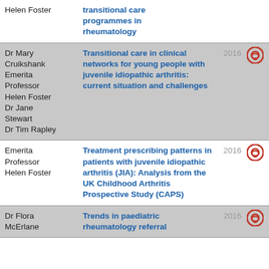| Author | Title | Year |  |
| --- | --- | --- | --- |
| Helen Foster | transitional care programmes in rheumatology |  |  |
| Dr Mary Cruikshank
Emerita Professor
Helen Foster
Dr Jane Stewart
Dr Tim Rapley | Transitional care in clinical networks for young people with juvenile idiopathic arthritis: current situation and challenges | 2016 | open access |
| Emerita Professor
Helen Foster | Treatment prescribing patterns in patients with juvenile idiopathic arthritis (JIA): Analysis from the UK Childhood Arthritis Prospective Study (CAPS) | 2016 | open access |
| Dr Flora McErlane | Trends in paediatric rheumatology referral | 2016 | open access |